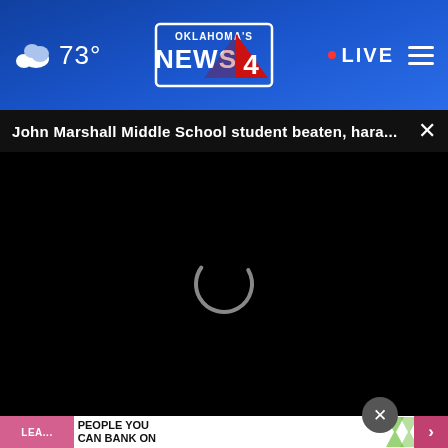73° Oklahoma's News 4 • LIVE
John Marshall Middle School student beaten, hara...
[Figure (screenshot): Black video player area with a circular loading spinner in the center]
[Figure (screenshot): Bottom strip showing wooden surface with orange objects, close button overlay, NBC advertisement bar reading 'NBC PEOPLE YOU CAN BANK ON' with chevron pattern, partial pink Learn More button on left and pink arrow button on right]